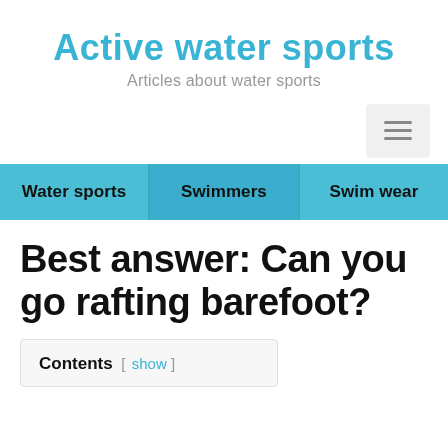Active water sports
Articles about water sports
Water sports   Swimmers   Swim wear
Best answer: Can you go rafting barefoot?
Contents [ show ]